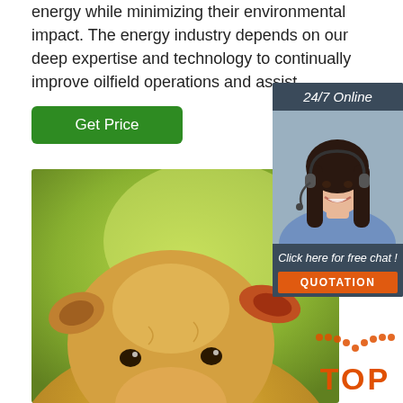energy while minimizing their environmental impact. The energy industry depends on our deep expertise and technology to continually improve oilfield operations and assist ...
[Figure (other): Green 'Get Price' button]
[Figure (photo): Close-up photo of a young calf (cow) with a blurred green background]
[Figure (other): Sidebar widget with '24/7 Online' label, photo of a woman with headset, 'Click here for free chat!' text, and an orange 'QUOTATION' button]
[Figure (logo): Orange 'TOP' logo with dotted arc above it in the bottom right corner]